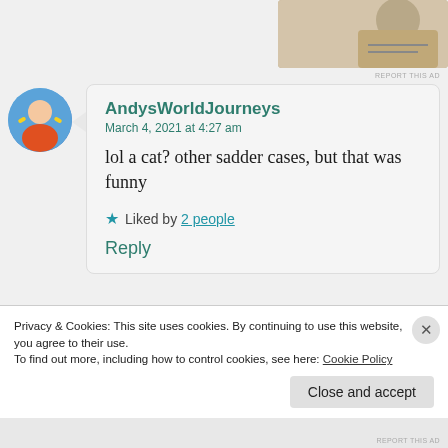[Figure (photo): Partial view of a person writing or drawing, top-right corner ad image]
REPORT THIS AD
[Figure (photo): Circular avatar of AndysWorldJourneys - person with arms outstretched against blue sky]
AndysWorldJourneys
March 4, 2021 at 4:27 am

lol a cat? other sadder cases, but that was funny

★ Liked by 2 people

Reply
[Figure (photo): Circular avatar of salsaworldtraveler - person in yellow outdoors]
salsaworldtraveler
Privacy & Cookies: This site uses cookies. By continuing to use this website, you agree to their use.
To find out more, including how to control cookies, see here: Cookie Policy

Close and accept
REPORT THIS AD